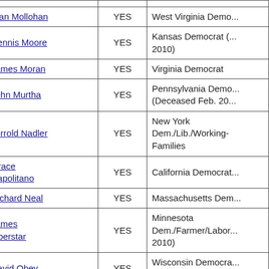| Name | Vote | Info |
| --- | --- | --- |
| Alan Mollohan | YES | West Virginia Demo... |
| Dennis Moore | YES | Kansas Democrat (... 2010) |
| James Moran | YES | Virginia Democrat |
| John Murtha | YES | Pennsylvania Demo... (Deceased Feb. 20...) |
| Jerrold Nadler | YES | New York Dem./Lib./Working-Families |
| Grace Napolitano | YES | California Democrat... |
| Richard Neal | YES | Massachusetts Dem... |
| James Oberstar | YES | Minnesota Dem./Farmer/Labor... 2010) |
| David Obey | YES | Wisconsin Democra... (until 2010) |
| John Olver | YES | Massachusetts Dem... |
| Solomon Ortiz | YES | Texas Democrat (Unseated 2010) |